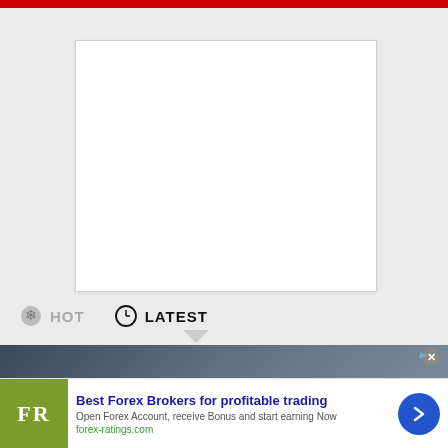[Figure (other): White content placeholder box on grey background]
HOT
LATEST
[Figure (photo): News image strip at bottom of main content area]
Best Forex Brokers for profitable trading
Open Forex Account, receive Bonus and start earning Now
forex-ratings.com